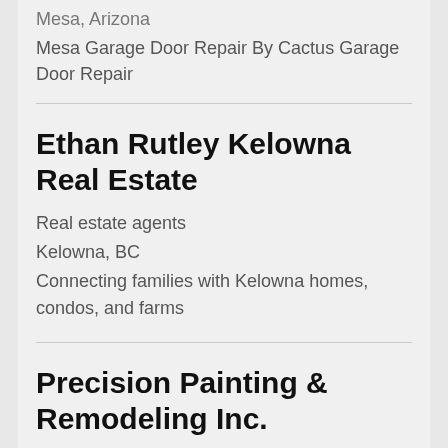Mesa, Arizona
Mesa Garage Door Repair By Cactus Garage Door Repair
Ethan Rutley Kelowna Real Estate
Real estate agents
Kelowna, BC
Connecting families with Kelowna homes, condos, and farms
Precision Painting & Remodeling Inc.
General contractor